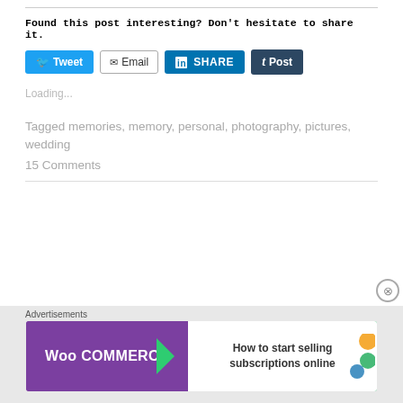Found this post interesting? Don't hesitate to share it.
[Figure (screenshot): Social share buttons: Tweet (Twitter/blue), Email (outlined), SHARE (LinkedIn/dark blue), Post (Tumblr/dark navy)]
Loading...
Tagged memories, memory, personal, photography, pictures, wedding
15 Comments
Advertisements
[Figure (screenshot): WooCommerce advertisement banner: How to start selling subscriptions online]